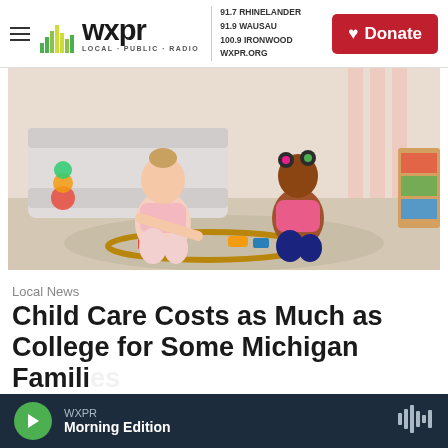WXPR LOCAL · PUBLIC · RADIO | 91.7 RHINELANDER | 91.9 WAUSAU | 100.9 IRONWOOD | WXPR.ORG | Donate
[Figure (photo): Two young children sitting on a floor playing with a wooden toy train set. One child wearing pink top and light pants, another wearing a pink long-sleeve shirt and dark jeans with hair clips. A white couch and colorful toys visible in background.]
Local News
Child Care Costs as Much as College for Some Michigan Families
WXPR Morning Edition